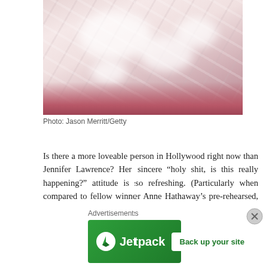[Figure (photo): Close-up photo of a crumpled white fabric/gown on a red/pink background, appears to be a wedding or formal dress]
Photo: Jason Merritt/Getty
Is there a more loveable person in Hollywood right now than Jennifer Lawrence? Her sincere “holy shit, is this really happening?” attitude is so refreshing. (Particularly when compared to fellow winner Anne Hathaway’s pre-rehearsed, faux-modest, baby-voiced “It came true!” acceptance speech. Blech.) And like Charlize, J.Law blew my mind in a stunning Dior gown that was white without
Advertisements
[Figure (screenshot): Jetpack advertisement banner with green background, Jetpack logo on left and 'Back up your site' button on right]